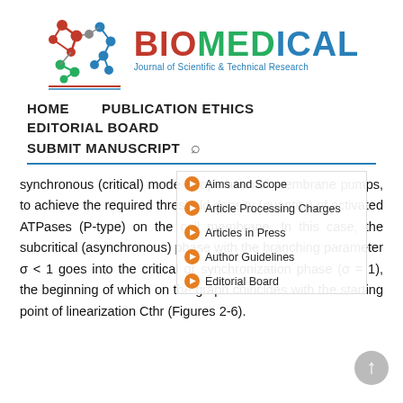[Figure (logo): Biomedical Journal of Scientific & Technical Research logo with molecular/network graphic and colorful text]
HOME
PUBLICATION ETHICS
EDITORIAL BOARD
SUBMIT MANUSCRIPT
Aims and Scope
Article Processing Charges
Articles in Press
Author Guidelines
Editorial Board
synchronous (critical) mode of operation of membrane pumps, to achieve the required threshold density (quantity) of activated ATPases (P-type) on the cell membrane. In this case, the subcritical (asynchronous) phase with the branching parameter σ < 1 goes into the critical or synchronization phase (σ = 1), the beginning of which on the graph coincides with the starting point of linearization Cthr (Figures 2-6).